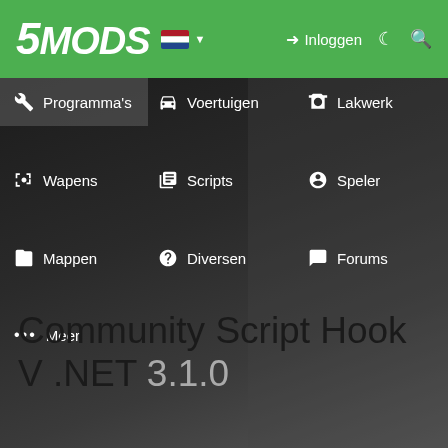5MODS — Inloggen
[Figure (screenshot): 5MODS website navigation menu with green header bar showing logo, Dutch flag, Inloggen (login) link, moon icon, search icon. Navigation grid shows: Programma's, Voertuigen, Lakwerk, Wapens, Scripts, Speler, Mappen, Diversen, Forums, Meer. Dark background with blurred image.]
Community Script Hook V .NET 3.1.0